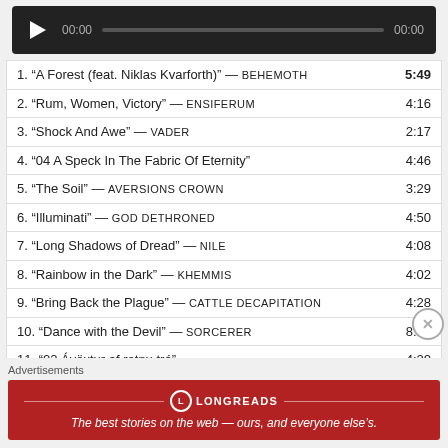[Figure (other): Audio player bar with play button, time display 00:00, progress bar, and end time 00:00 on dark background]
1. “A Forest (feat. Niklas Kvarforth)” — BEHEMOTH   5:49
2. “Rum, Women, Victory” — ENSIFERUM   4:16
3. “Shock And Awe” — VADER   2:17
4. “04 A Speck In The Fabric Of Eternity”   4:46
5. “The Soil” — AVERSIONS CROWN   3:29
6. “Illuminati” — GOD DETHRONED   4:50
7. “Long Shadows of Dread” — NILE   4:08
8. “Rainbow in the Dark” — KHEMMIS   4:02
9. “Bring Back the Plague” — CATTLE DECAPITATION   4:28
10. “Dance with the Devil” — SORCERER   8:16
11. “02 Ávöxtur af rotnu tré”   4:20
12. “Verminous” — THE BLACK DAHLIA MURDER   3:50
13. “Reach Toward The Sky” — VOICES OF RUIN   5:59
Advertisements
[Figure (other): Longreads advertisement banner in red with logo and tagline: The best stories on the web — ours, and everyone else’s.]